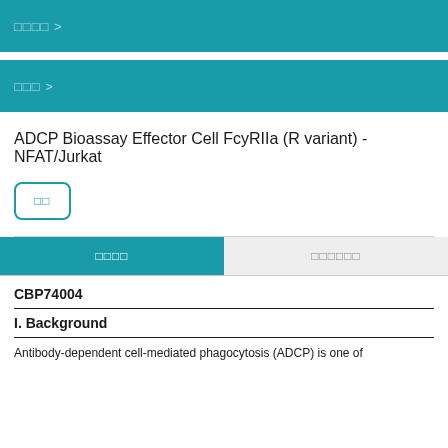□□□□ >
□□□ >
ADCP Bioassay Effector Cell FcyRIIa (R variant) -NFAT/Jurkat
□□
□□□□
□□□□□□
CBP74004
I. Background
Antibody-dependent cell-mediated phagocytosis (ADCP) is one of